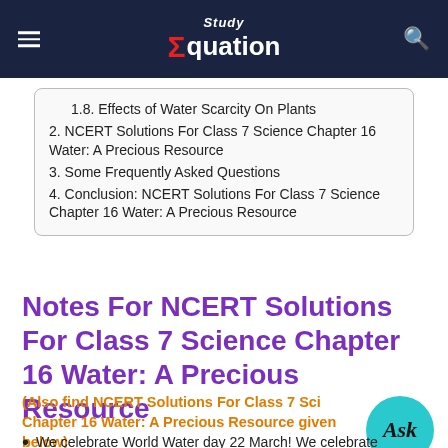Study Equation
1.8. Effects of Water Scarcity On Plants
2. NCERT Solutions For Class 7 Science Chapter 16 Water: A Precious Resource
3. Some Frequently Asked Questions
4. Conclusion: NCERT Solutions For Class 7 Science Chapter 16 Water: A Precious Resource
Notes For NCERT Solutions For Class 7 Science Chapter 16 Water: A Precious Resource
(Also find NCERT Solutions For Class 7 Science Chapter 16 Water: A Precious Resource given below)
We celebrate World Water day 22 March! We celebrate